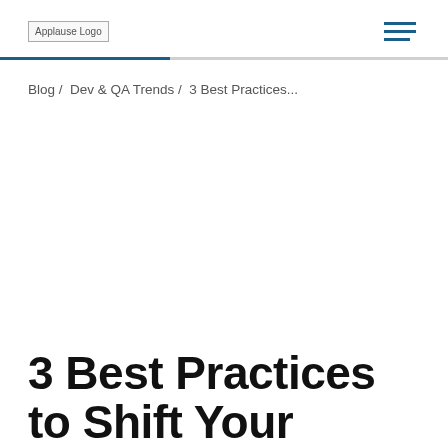Applause Logo [hamburger menu]
Blog /  Dev & QA Trends /  3 Best Practices...
3 Best Practices to Shift Your